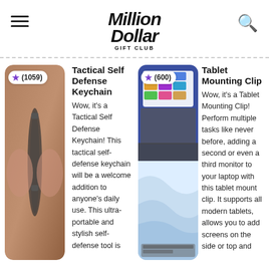[Figure (logo): Million Dollar Gift Club logo with hamburger menu icon on left and search icon on right]
[Figure (photo): Photo of a tactical self-defense keychain held in a hand, black metal tool]
Tactical Self Defense Keychain
★ (1059)
Wow, it's a Tactical Self Defense Keychain! This tactical self-defense keychain will be a welcome addition to anyone's daily use. This ultra-portable and stylish self-defense tool is
[Figure (photo): Two-part photo: top shows a tablet mounted to a laptop displaying colorful app tiles; bottom shows abstract wavy white shapes]
★ (600)
Tablet Mounting Clip
Wow, it's a Tablet Mounting Clip! Perform multiple tasks like never before, adding a second or even a third monitor to your laptop with this tablet mount clip. It supports all modern tablets, allows you to add screens on the side or top and